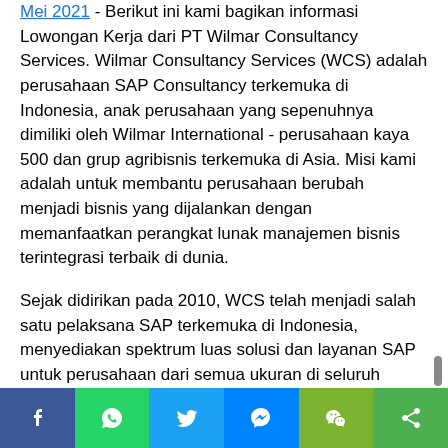Mei 2021 - Berikut ini kami bagikan informasi Lowongan Kerja dari PT Wilmar Consultancy Services. Wilmar Consultancy Services (WCS) adalah perusahaan SAP Consultancy terkemuka di Indonesia, anak perusahaan yang sepenuhnya dimiliki oleh Wilmar International - perusahaan kaya 500 dan grup agribisnis terkemuka di Asia. Misi kami adalah untuk membantu perusahaan berubah menjadi bisnis yang dijalankan dengan memanfaatkan perangkat lunak manajemen bisnis terintegrasi terbaik di dunia.
Sejak didirikan pada 2010, WCS telah menjadi salah satu pelaksana SAP terkemuka di Indonesia, menyediakan spektrum luas solusi dan layanan SAP untuk perusahaan dari semua ukuran di seluruh dunia. Saat ini, WCS memutuhkan tenaga kerja baru yang akan ditempatkan sebagai